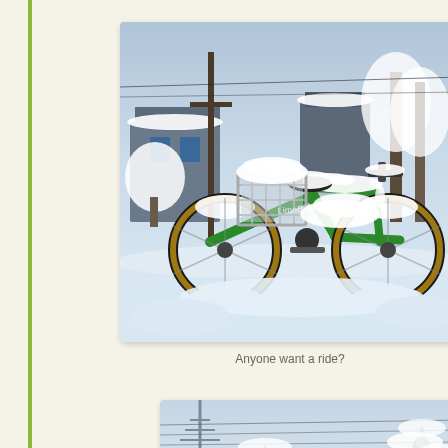[Figure (photo): A green and yellow LimeBike bicycle covered in heavy snow, parked on a snow-covered street. The bike has a wire basket on the front also filled with snow. Snow-covered trees, houses, and a parked car are visible in the background. The scene depicts a winter snowstorm in a residential neighborhood.]
Anyone want a ride?
[Figure (photo): A partial view of a winter scene showing snow-covered trees and what appears to be power line towers or similar structures against a light sky. Only the top portion of the image is visible as it is cut off at the bottom of the page.]